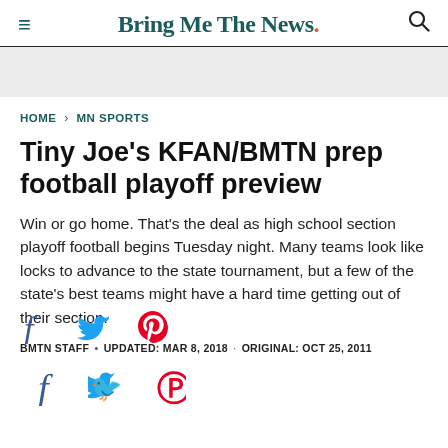Bring Me The News.
HOME > MN SPORTS
Tiny Joe's KFAN/BMTN prep football playoff preview
Win or go home. That's the deal as high school section playoff football begins Tuesday night. Many teams look like locks to advance to the state tournament, but a few of the state's best teams might have a hard time getting out of their section.
BMTN STAFF • UPDATED: MAR 8, 2018 · ORIGINAL: OCT 25, 2011
[Figure (infographic): Social media share icons: Facebook (f), Twitter (bird), Pinterest (P)]